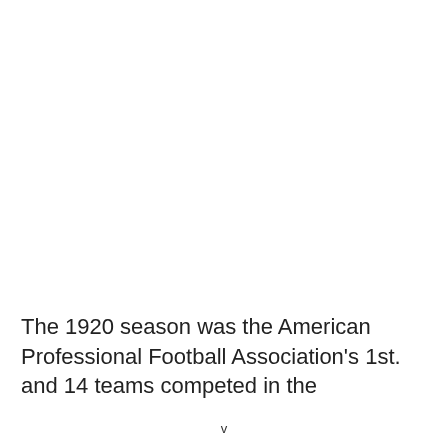The 1920 season was the American Professional Football Association's 1st. and 14 teams competed in the
v